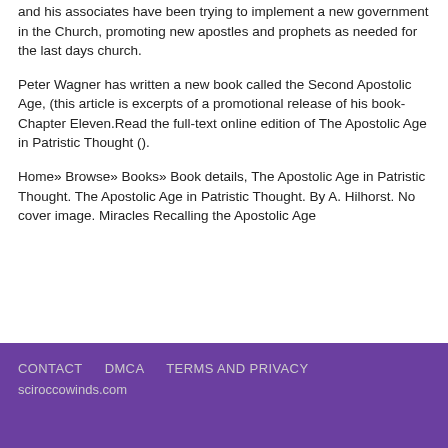and his associates have been trying to implement a new government in the Church, promoting new apostles and prophets as needed for the last days church.
Peter Wagner has written a new book called the Second Apostolic Age, (this article is excerpts of a promotional release of his book-Chapter Eleven.Read the full-text online edition of The Apostolic Age in Patristic Thought ().
Home» Browse» Books» Book details, The Apostolic Age in Patristic Thought. The Apostolic Age in Patristic Thought. By A. Hilhorst. No cover image. Miracles Recalling the Apostolic Age
CONTACT   DMCA   TERMS AND PRIVACY
sciroccowinds.com